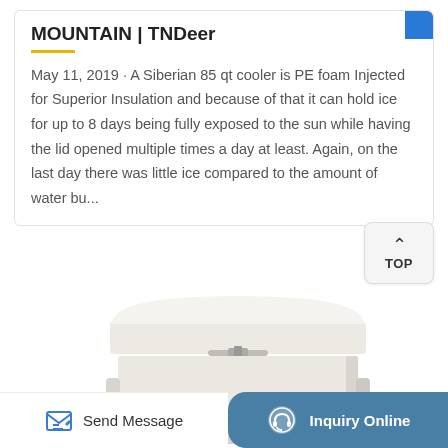MOUNTAIN | TNDeer
May 11, 2019 · A Siberian 85 qt cooler is PE foam Injected for Superior Insulation and because of that it can hold ice for up to 8 days being fully exposed to the sun while having the lid opened multiple times a day at least. Again, on the last day there was little ice compared to the amount of water bu...
[Figure (photo): A white chest cooler with a closed lid, viewed from slightly above, showing the latch mechanism in the center.]
Send Message
Inquiry Online